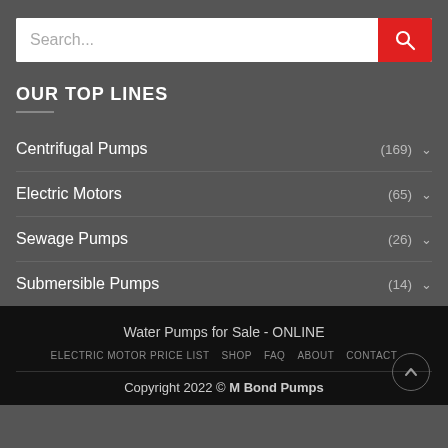[Figure (other): Search bar with text input showing placeholder 'Search...' and a red search button with a magnifying glass icon]
OUR TOP LINES
Centrifugal Pumps (169)
Electric Motors (65)
Sewage Pumps (26)
Submersible Pumps (14)
Water Pumps for Sale - ONLINE
ELECTRIC MOTOR PRICE LIST  SHOP  FAQ  ABOUT  CONTACT
Copyright 2022 © M Bond Pumps